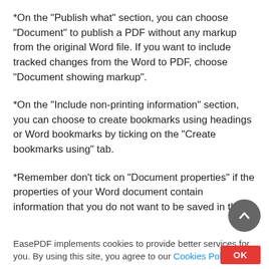*On the "Publish what" section, you can choose "Document" to publish a PDF without any markup from the original Word file. If you want to include tracked changes from the Word to PDF, choose "Document showing markup".
*On the "Include non-printing information" section, you can choose to create bookmarks using headings or Word bookmarks by ticking on the "Create bookmarks using" tab.
*Remember don't tick on "Document properties" if the properties of your Word document contain information that you do not want to be saved in th
EasePDF implements cookies to provide better services for you. By using this site, you agree to our Cookies Policy.